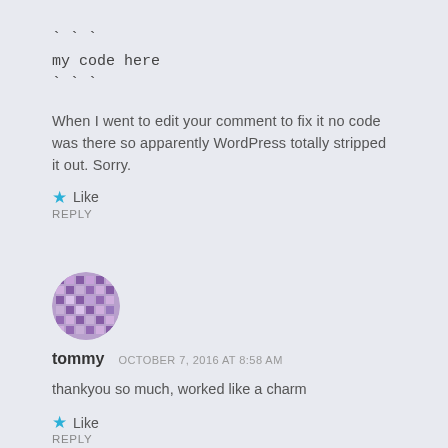` ` `
my code here
` ` `
When I went to edit your comment to fix it no code was there so apparently WordPress totally stripped it out. Sorry.
★ Like
REPLY
[Figure (illustration): Circular avatar image with a mosaic/pixel pattern in purple and tan colors for user tommy]
tommy   OCTOBER 7, 2016 AT 8:58 AM
thankyou so much, worked like a charm
★ Like
REPLY